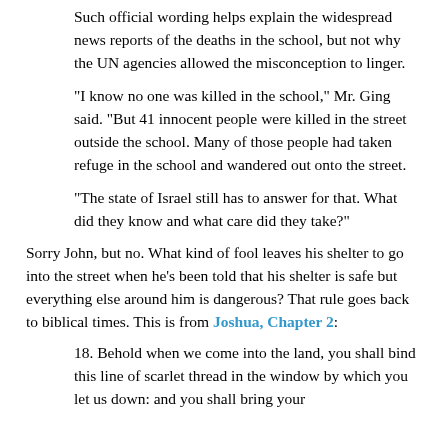Such official wording helps explain the widespread news reports of the deaths in the school, but not why the UN agencies allowed the misconception to linger.
"I know no one was killed in the school," Mr. Ging said. "But 41 innocent people were killed in the street outside the school. Many of those people had taken refuge in the school and wandered out onto the street.
"The state of Israel still has to answer for that. What did they know and what care did they take?"
Sorry John, but no. What kind of fool leaves his shelter to go into the street when he's been told that his shelter is safe but everything else around him is dangerous? That rule goes back to biblical times. This is from Joshua, Chapter 2:
18. Behold when we come into the land, you shall bind this line of scarlet thread in the window by which you let us down: and you shall bring your